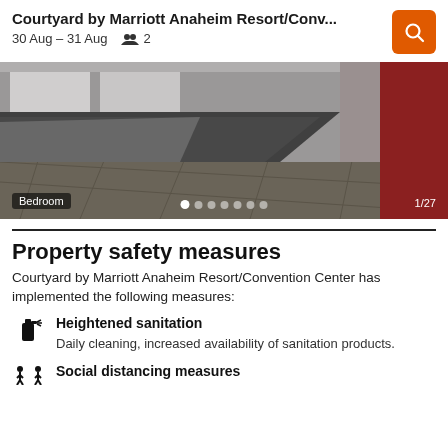Courtyard by Marriott Anaheim Resort/Conv... | 30 Aug – 31 Aug | 2 guests
[Figure (photo): Hotel bedroom photo showing bed with gray bedding on patterned carpet floor. Label 'Bedroom' in bottom left, dots carousel indicator in bottom center, '1/27' counter in bottom right.]
Property safety measures
Courtyard by Marriott Anaheim Resort/Convention Center has implemented the following measures:
Heightened sanitation — Daily cleaning, increased availability of sanitation products.
Social distancing measures